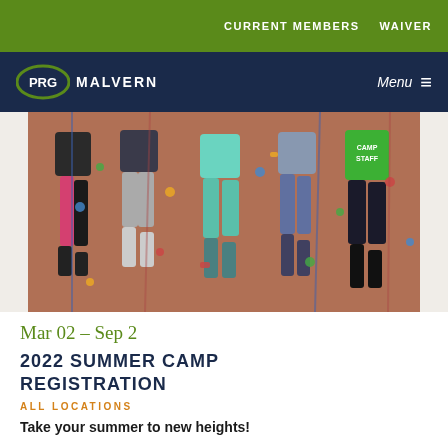CURRENT MEMBERS   WAIVER
PRG MALVERN   Menu
[Figure (photo): Four children and a camp staff member climbing an indoor rock climbing wall from behind; the staff member wears a green shirt reading CAMP STAFF]
Mar 02 – Sep 2
2022 SUMMER CAMP REGISTRATION
ALL LOCATIONS
Take your summer to new heights!